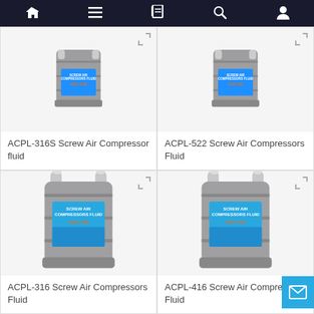Navigation bar with home, menu, catalog, search, account icons
[Figure (photo): Gray plastic jerrycan/container with blue label reading SCREW AIR COMPRESSORS FLUID ACPL-316S, partially cropped at top]
ACPL-316S Screw Air Compressor fluid
[Figure (photo): Gray plastic jerrycan/container with blue label reading SCREW AIR COMPRESSORS FLUID ACPL-522, partially cropped at top]
ACPL-522 Screw Air Compressors Fluid
[Figure (photo): Gray plastic jerrycan/container with blue label reading SCREW AIR COMPRESSORS FLUID ACPL-316, full container visible]
ACPL-316 Screw Air Compressors Fluid
[Figure (photo): Gray plastic jerrycan/container with blue label reading SCREW AIR COMPRESSORS FLUID ACPL-416, full container visible]
ACPL-416 Screw Air Compressors Fluid